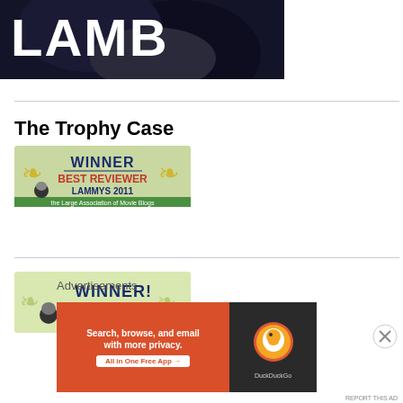[Figure (photo): Movie poster image for LAMB with large white text and dark background showing animal silhouette]
The Trophy Case
[Figure (illustration): Award badge: WINNER BEST REVIEWER LAMMYS 2011 - the Large Association of Movie Blogs, with golden laurel wreath and sheep cartoon]
[Figure (illustration): Award badge: WINNER! 1 LAMMY with sheep cartoon and laurel wreath design]
Advertisements
[Figure (screenshot): DuckDuckGo advertisement: Search, browse, and email with more privacy. All in One Free App]